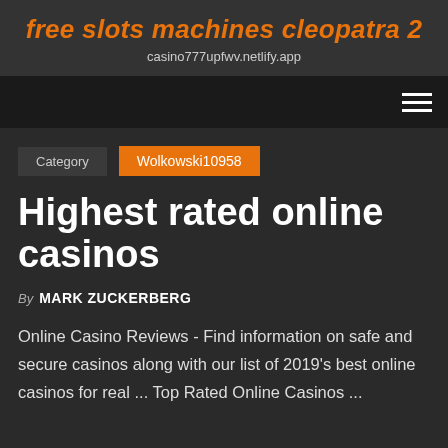free slots machines cleopatra 2
casino777upfwv.netlify.app
Category  Wolkowski10958
Highest rated online casinos
By MARK ZUCKERBERG
Online Casino Reviews - Find information on safe and secure casinos along with our list of 2019's best online casinos for real ... Top Rated Online Casinos ...